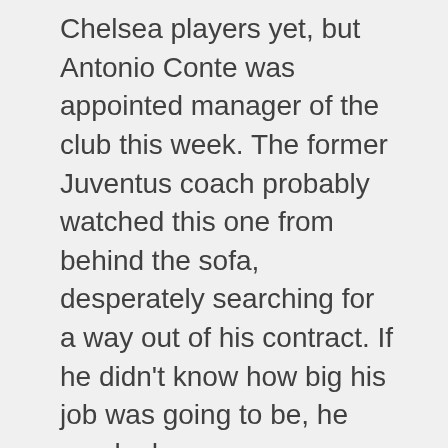Chelsea players yet, but Antonio Conte was appointed manager of the club this week. The former Juventus coach probably watched this one from behind the sofa, desperately searching for a way out of his contract. If he didn't know how big his job was going to be, he surely does now.
The problem for the Blues was a lack of motivation from the off. While many will point to Hiddink's position as a lame duck in the dugout, that can't be to blame. While he is leaving, he's always planned to leave since he took the job. The announcement of Conte shouldn't have that much of an effect. In fact, the team should be pushing to impress the Italian, but they didn't manage to impress anyone here.
Sigurdsson scored 25 minutes into the first half, beating Begovic with a volley. The defence hardly covered themselves in glory to say the least. From that point on there was little threat from the Blues,